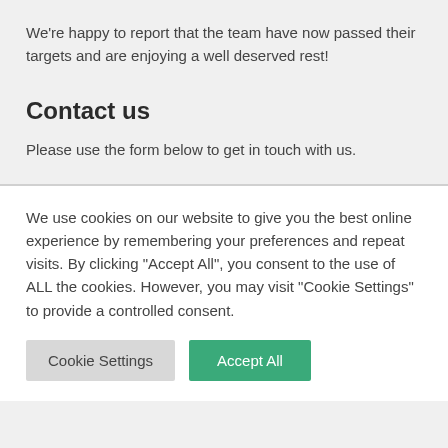We're happy to report that the team have now passed their targets and are enjoying a well deserved rest!
Contact us
Please use the form below to get in touch with us.
We use cookies on our website to give you the best online experience by remembering your preferences and repeat visits. By clicking "Accept All", you consent to the use of ALL the cookies. However, you may visit "Cookie Settings" to provide a controlled consent.